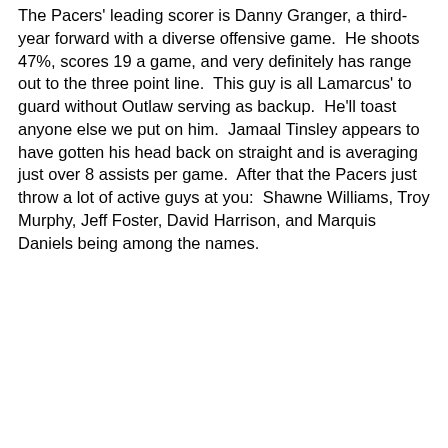The Pacers' leading scorer is Danny Granger, a third-year forward with a diverse offensive game.  He shoots 47%, scores 19 a game, and very definitely has range out to the three point line.  This guy is all Lamarcus' to guard without Outlaw serving as backup.  He'll toast anyone else we put on him.  Jamaal Tinsley appears to have gotten his head back on straight and is averaging just over 8 assists per game.  After that the Pacers just throw a lot of active guys at you:  Shawne Williams, Troy Murphy, Jeff Foster, David Harrison, and Marquis Daniels being among the names.